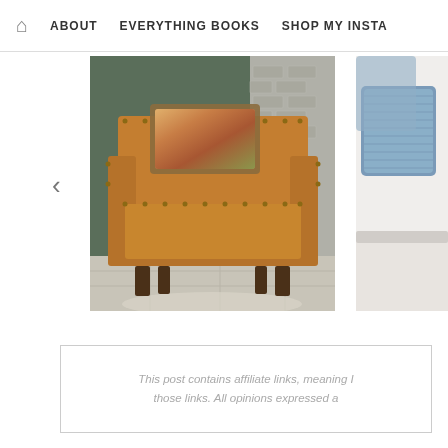🏠  ABOUT    EVERYTHING BOOKS    SHOP MY INSTA
[Figure (photo): A tan/caramel leather armchair with nailhead trim and a colorful throw pillow, photographed against a green paneled wall and gray brick wall background, on a light stone floor with a fur rug.]
[Figure (photo): Partial view of a white sofa or chair with blue textured throw pillows.]
This post contains affiliate links, meaning I... those links. All opinions expressed a...